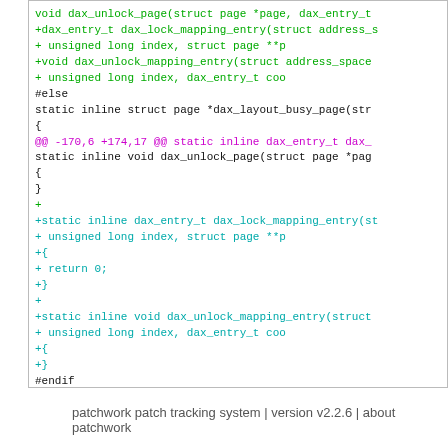[Figure (screenshot): Code diff showing additions to DAX kernel code including dax_lock_mapping_entry, dax_unlock_mapping_entry, and dax_zero_range function signatures, with a hunk header at line -170,6 +174,17.]
patchwork patch tracking system | version v2.2.6 | about patchwork